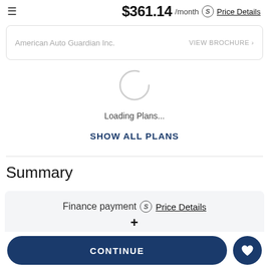$361.14 /month Price Details
American Auto Guardian Inc.
VIEW BROCHURE >
[Figure (other): Loading spinner circle animation]
Loading Plans...
SHOW ALL PLANS
Summary
Finance payment Price Details
CONTINUE